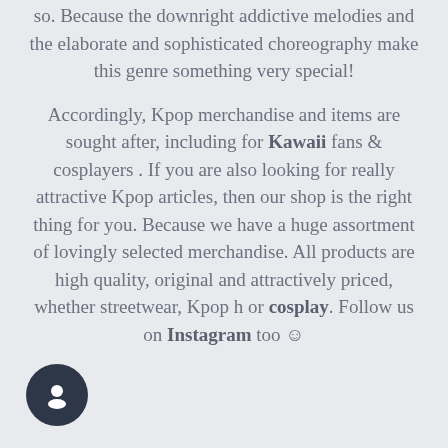so. Because the downright addictive melodies and the elaborate and sophisticated choreography make this genre something very special!

Accordingly, Kpop merchandise and items are sought after, including for Kawaii fans & cosplayers . If you are also looking for really attractive Kpop articles, then our shop is the right thing for you. Because we have a huge assortment of lovingly selected merchandise. All products are high quality, original and attractively priced, whether streetwear, Kpop h or cosplay. Follow us on Instagram too ☺
[Figure (other): Dark circular chat button icon with a speech bubble/person icon in white, positioned bottom-left]